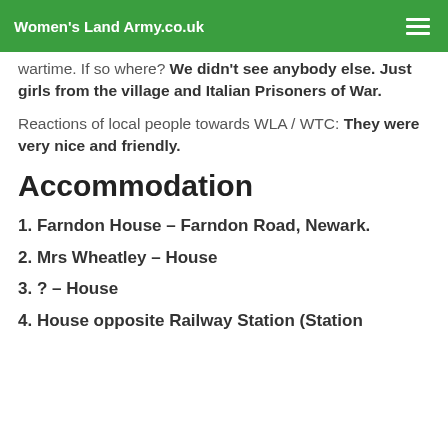Women's Land Army.co.uk
wartime. If so where? We didn't see anybody else. Just girls from the village and Italian Prisoners of War.
Reactions of local people towards WLA / WTC: They were very nice and friendly.
Accommodation
1. Farndon House – Farndon Road, Newark.
2. Mrs Wheatley – House
3. ?  – House
4. House opposite Railway Station (Station